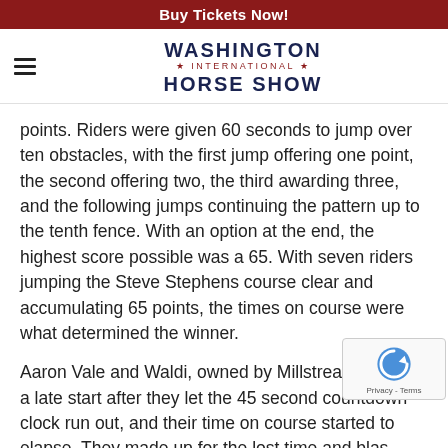Buy Tickets Now!
WASHINGTON INTERNATIONAL HORSE SHOW
points. Riders were given 60 seconds to jump over ten obstacles, with the first jump offering one point, the second offering two, the third awarding three, and the following jumps continuing the pattern up to the tenth fence. With an option at the end, the highest score possible was a 65. With seven riders jumping the Steve Stephens course clear and accumulating 65 points, the times on course were what determined the winner.
Aaron Vale and Waldi, owned by Millstream Inc, had a late start after they let the 45 second countdown clock run out, and their time on course started to elapse. They made up for the lost time and blasted through the finish line in 44.86 seconds. Second went to Norman Dello Joio and Enrique Garcia's horse